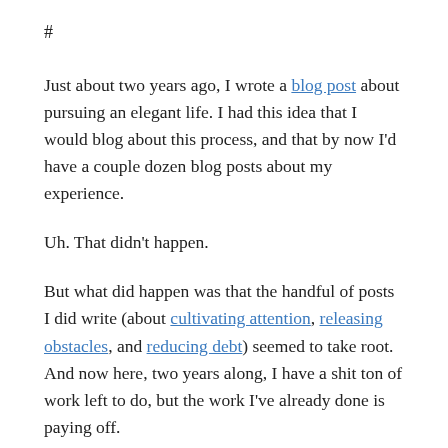#
Just about two years ago, I wrote a blog post about pursuing an elegant life. I had this idea that I would blog about this process, and that by now I’d have a couple dozen blog posts about my experience.
Uh. That didn’t happen.
But what did happen was that the handful of posts I did write (about cultivating attention, releasing obstacles, and reducing debt) seemed to take root. And now here, two years along, I have a shit ton of work left to do, but the work I’ve already done is paying off.